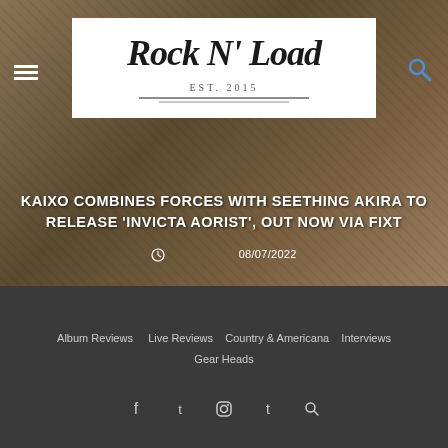[Figure (screenshot): Rock N Load website hero banner showing dark brown/dusty background with a person in dark clothing, hamburger menu icon top left, search icon top right, and Rock N Load logo in white box center top]
KAIXO COMBINES FORCES WITH SEETHING AKIRA TO RELEASE 'INVICTA AORIST', OUT NOW VIA FIXT
08/07/2022
Album Reviews   Live Reviews   Country & Americana   Interviews   Gear Heads